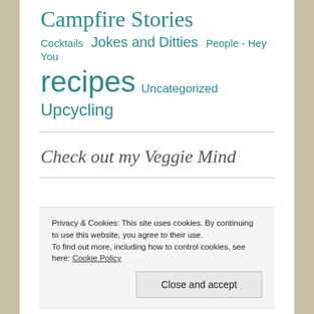Campfire Stories
Cocktails
Jokes and Ditties
People - Hey You
recipes
Uncategorized
Upcycling
Check out my Veggie Mind
Privacy & Cookies: This site uses cookies. By continuing to use this website, you agree to their use. To find out more, including how to control cookies, see here: Cookie Policy
Close and accept